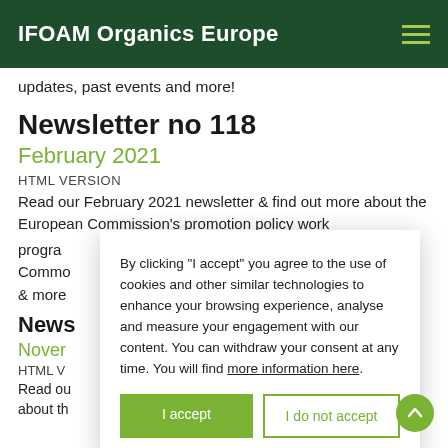IFOAM Organics Europe
updates, past events and more!
Newsletter no 118
February 2021
HTML VERSION
Read our February 2021 newsletter & find out more about the European Commission's promotion policy work program, Common Agricultural Policy CAH 2021 & more
Newsletter
Nover
HTML V
Read ou ore about th ural
By clicking “I accept” you agree to the use of cookies and other similar technologies to enhance your browsing experience, analyse and measure your engagement with our content. You can withdraw your consent at any time. You will find more information here.